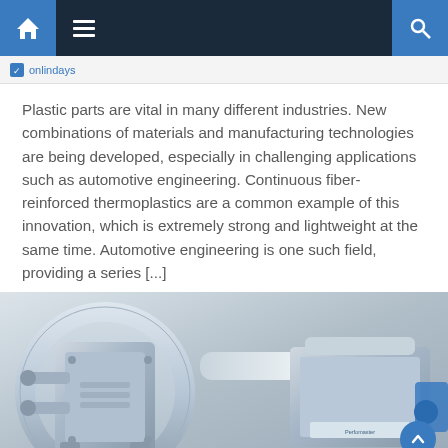Navigation bar with home, menu, and search icons
Plastic parts are vital in many different industries. New combinations of materials and manufacturing technologies are being developed, especially in challenging applications such as automotive engineering. Continuous fiber-reinforced thermoplastics are a common example of this innovation, which is extremely strong and lightweight at the same time. Automotive engineering is one such field, providing a series [...]
[Figure (photo): Industrial testing or manufacturing equipment, metallic machine components including what appears to be a Perfomaster or similar device, shown in silver/gray metallic finish]